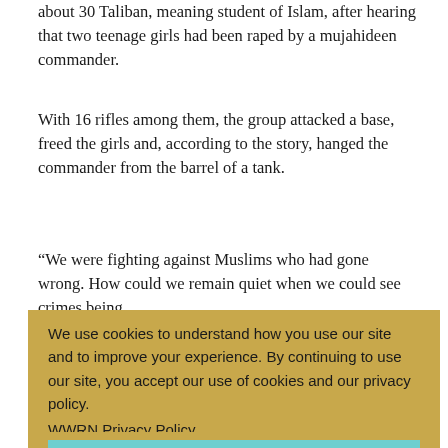about 30 Taliban, meaning student of Islam, after hearing that two teenage girls had been raped by a mujahideen commander.
With 16 rifles among them, the group attacked a base, freed the girls and, according to the story, hanged the commander from the barrel of a tank.
“We were fighting against Muslims who had gone wrong. How could we remain quiet when we could see crimes being committed against women and the poor?” Omar told a Pakistani reporter.
[Figure (screenshot): Cookie consent overlay with tan/golden background. Text reads: 'We use cookies to understand how you use our site and to improve your experience. By continuing to use our site, you accept our use of cookies and our privacy policy.' with a 'WWRN Privacy Policy' link and a teal 'I Accept' button.]
After the incident his reputation grew and Taliban members found eager recruits among the refugees near the Pakistani border.
“He started out as a simple Pashtun mullah with no world view or vision of a future Afghan state,” said Ahmed Rashid, author of the best-selling book “Taliban”.
“He started not wanting state power but only wanting to rid Afghanistan of warlords … He has developed his world view with the help of Osama bin Laden.”